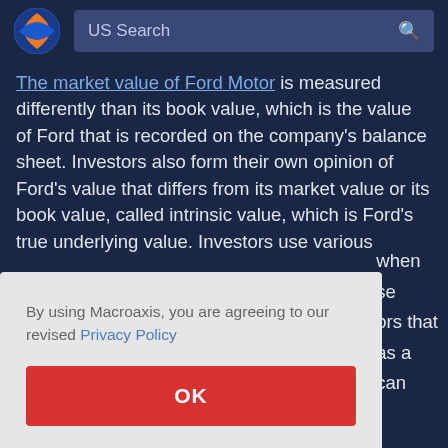US Search
The market value of Ford Motor is measured differently than its book value, which is the value of Ford that is recorded on the company's balance sheet. Investors also form their own opinion of Ford's value that differs from its market value or its book value, called intrinsic value, which is Ford's true underlying value. Investors use various
when
se
ors that
as a
can
By using Macroaxis, you are agreeing to our revised Privacy Policy
OK